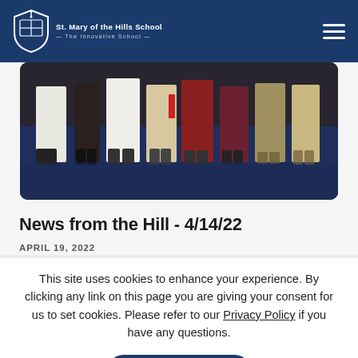St. Mary of the Hills School — The Innovative School
[Figure (photo): A group of students standing in costume on a blue-carpeted stage, showing only from waist down, wearing various colorful robes and costumes.]
News from the Hill - 4/14/22
APRIL 19, 2022
This site uses cookies to enhance your experience. By clicking any link on this page you are giving your consent for us to set cookies. Please refer to our Privacy Policy if you have any questions.
Dismiss